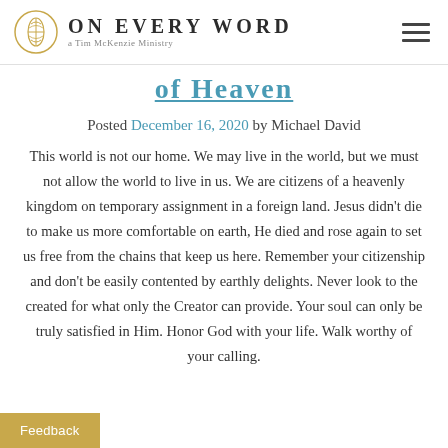ON EVERY WORD — a Tim McKenzie Ministry
of Heaven
Posted December 16, 2020 by Michael David
This world is not our home. We may live in the world, but we must not allow the world to live in us. We are citizens of a heavenly kingdom on temporary assignment in a foreign land. Jesus didn't die to make us more comfortable on earth, He died and rose again to set us free from the chains that keep us here. Remember your citizenship and don't be easily contented by earthly delights. Never look to the created for what only the Creator can provide. Your soul can only be truly satisfied in Him. Honor God with your life. Walk worthy of your calling.